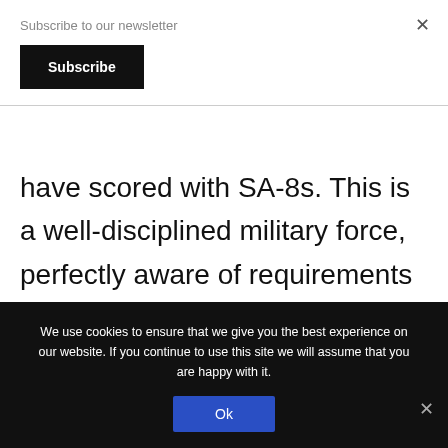Subscribe to our newsletter
Subscribe
×
have scored with SA-8s. This is a well-disciplined military force, perfectly aware of requirements for operational security. It's capable of striking a balance between the propaganda value of celebrating its shoot-
We use cookies to ensure that we give you the best experience on our website. If you continue to use this site we will assume that you are happy with it.
Ok
×